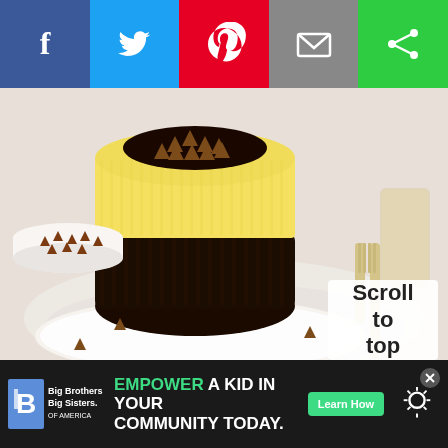[Figure (infographic): Social share bar with Facebook (blue), Twitter (light blue), Pinterest (red), Email (gray), and another share option (green) icons across the top]
[Figure (photo): Mini cheesecakes with chocolate ganache topping and chocolate chips, with an Oreo cookie crust, on white plates. A bowl of chocolate chips and a glass of milk visible in the background.]
Scroll to top
[Figure (infographic): Advertisement bar at bottom: Big Brothers Big Sisters logo on left, green text EMPOWER A KID IN YOUR COMMUNITY TODAY. with Learn How button, weather icon on right]